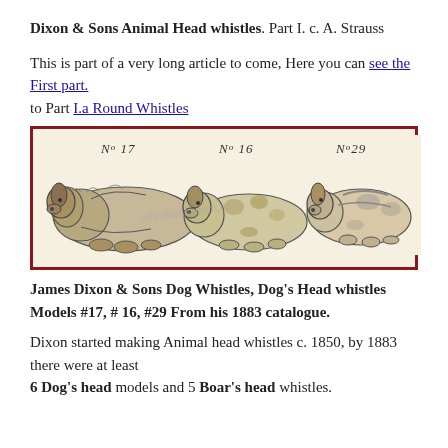Dixon & Sons Animal Head whistles. Part I. c. A. Strauss
This is part of a very long article to come, Here you can see the First part. to Part I.a Round Whistles
[Figure (illustration): Catalogue illustration showing three dog head whistles labeled No 17, No 16, and No 29, with a watermark reading whistlemuseum.com]
James Dixon & Sons Dog Whistles, Dog's Head whistles Models #17, # 16, #29 From his 1883 catalogue.
Dixon started making Animal head whistles c. 1850, by 1883 there were at least 6 Dog's head models and 5 Boar's head whistles.